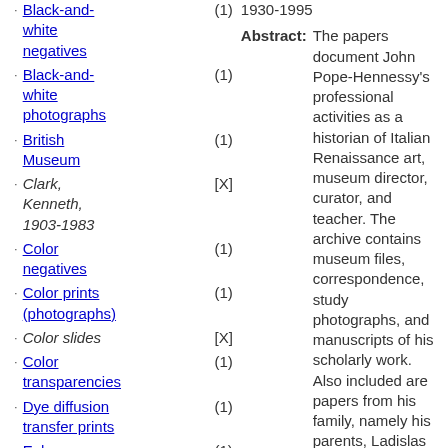Black-and-white negatives (1)
Black-and-white photographs (1)
British Museum (1)
Clark, Kenneth, 1903-1983 [X]
Color negatives (1)
Color prints (photographs) (1)
Color slides [X]
Color transparencies (1)
Dye diffusion transfer prints (1)
Ephemera (1)
Fahy, Everett (1)
Gelatin silver prints (1)
Mary, Queen, consort of George V, King of Great Britain, 1867- (1)
1930-1995
Abstract: The papers document John Pope-Hennessy's professional activities as a historian of Italian Renaissance art, museum director, curator, and teacher. The archive contains museum files, correspondence, study photographs, and manuscripts of his scholarly work. Also included are papers from his family, namely his parents, Ladislas and Una Pope-Hennessy and his brother